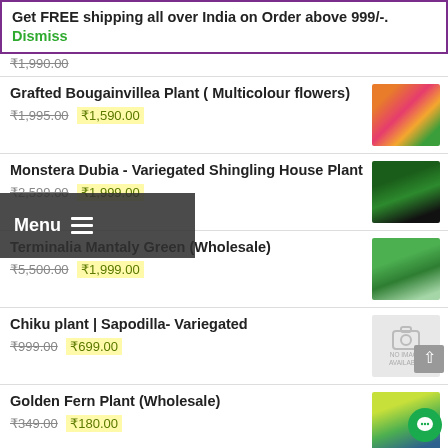Get FREE shipping all over India on Order above 999/-. Dismiss
₹1,999.00 (partial, cut off at top)
Grafted Bougainvillea Plant ( Multicolour flowers) — ₹1,995.00  ₹1,590.00
Monstera Dubia - Variegated Shingling House Plant — ₹2,599.00  ₹1,999.00
Terminalia Mantaly Green (Wholesale) — ₹5,500.00  ₹1,999.00
Chiku plant | Sapodilla- Variegated — ₹999.00  ₹699.00
Golden Fern Plant (Wholesale) — ₹349.00  ₹180.00
Best plants for Bonsai | Pack of 7 plants — ₹3,799.00  ₹2,099.00